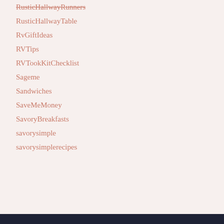RusticHallwayRunners
RusticHallwayTable
RvGiftIdeas
RVTips
RVTookKitChecklist
Sageme
Sandwiches
SaveMeMoney
SavoryBreakfasts
savorysimple
savorysimplerecipes